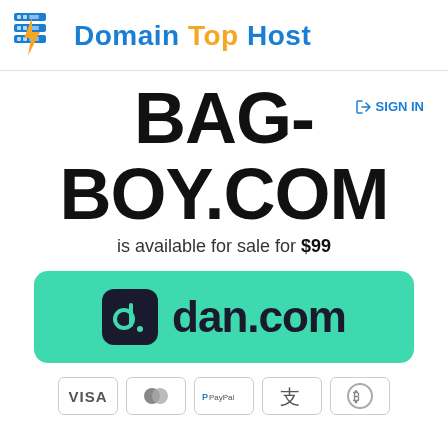Domain Top Host
BAG-BOY.COM
is available for sale for $99
[Figure (logo): dan.com logo and link button on teal/green rounded rectangle background]
[Figure (infographic): Payment method icons: VISA, Mastercard, PayPal, Alipay, Bitcoin]